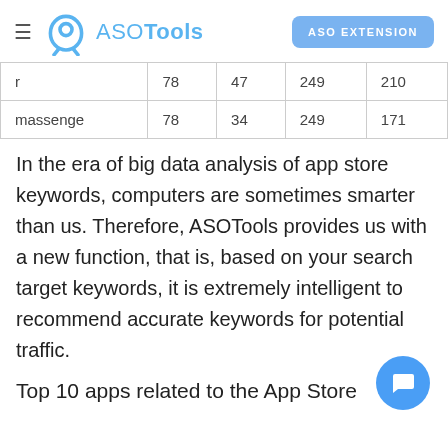ASOTools — ASO EXTENSION
| r | 78 | 47 | 249 | 210 |
| massenge | 78 | 34 | 249 | 171 |
In the era of big data analysis of app store keywords, computers are sometimes smarter than us. Therefore, ASOTools provides us with a new function, that is, based on your search target keywords, it is extremely intelligent to recommend accurate keywords for potential traffic.
Top 10 apps related to the App Store